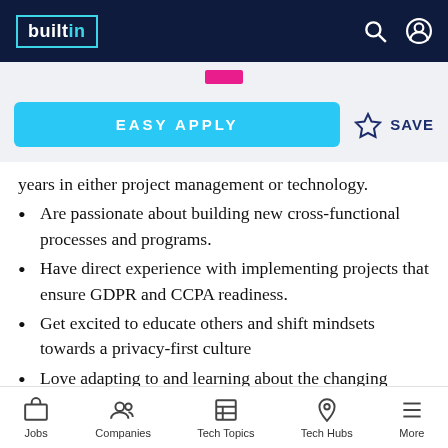builtin
years in either project management or technology.
Are passionate about building new cross-functional processes and programs.
Have direct experience with implementing projects that ensure GDPR and CCPA readiness.
Get excited to educate others and shift mindsets towards a privacy-first culture
Love adapting to and learning about the changing Privacy landscape within the United
Jobs  Companies  Tech Topics  Tech Hubs  More